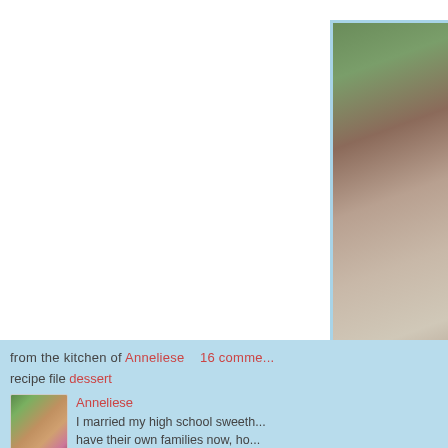[Figure (photo): Food/table setting photograph showing a white plate or tray with a small garnish, a teacup with saucer in background, and some foliage. Photo is partially cropped on the right side of the page.]
from the kitchen of Anneliese   16 comments
recipe file dessert
[Figure (photo): Small circular profile photo of a woman (Anneliese) wearing a purple top and headband with gray hair, smiling.]
Anneliese
I married my high school sweeth... have their own families now, ho... reminds me of the beauty w...